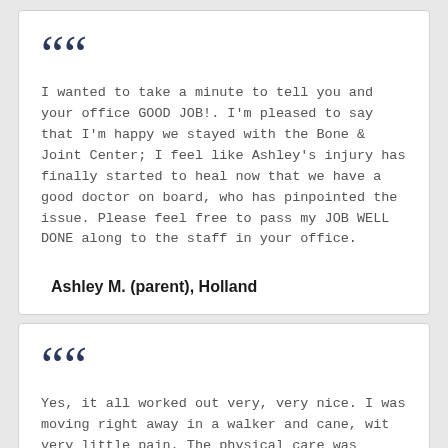““ I wanted to take a minute to tell you and your office GOOD JOB!. I’m pleased to say that I’m happy we stayed with the Bone & Joint Center; I feel like Ashley’s injury has finally started to heal now that we have a good doctor on board, who has pinpointed the issue. Please feel free to pass my JOB WELL DONE along to the staff in your office.
Ashley M. (parent), Holland
““ Yes, it all worked out very, very nice. I was moving right away in a walker and cane, with very little pain. The physical care was excelle... They did an excellent job, from pre-op through